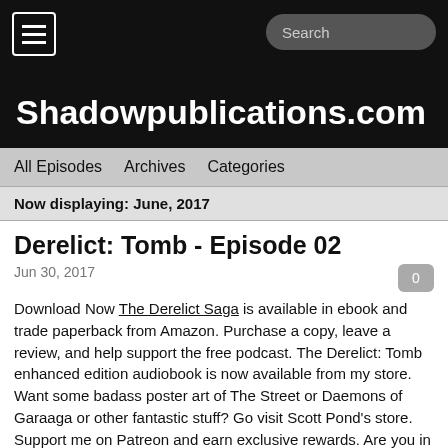Shadowpublications.com
All Episodes   Archives   Categories
Now displaying: June, 2017
Derelict: Tomb - Episode 02
Jun 30, 2017
Download Now The Derelict Saga is available in ebook and trade paperback from Amazon. Purchase a copy, leave a review, and help support the free podcast. The Derelict: Tomb enhanced edition audiobook is now available from my store. Want some badass poster art of The Street or Daemons of Garaaga or other fantastic stuff? Go visit Scott Pond's store. Support me on Patreon and earn exclusive rewards. Are you in The Graveyard? If you are suffering from depression or other mental disorders, please get help.